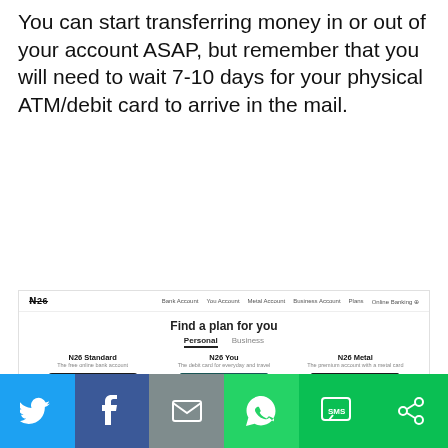You can start transferring money in or out of your account ASAP, but remember that you will need to wait 7-10 days for your physical ATM/debit card to arrive in the mail.
[Figure (screenshot): Screenshot of N26 bank website showing 'Find a plan for you' with three account options: N26 Standard (€0.00/month), N26 You (€9.90/month), and N26 Metal (€16.90/month), each with an Open Bank Account button.]
[Figure (infographic): Social sharing bar with six buttons: Twitter (blue), Facebook (dark blue), Email (gray), WhatsApp (green), SMS (green), and a share/rotate icon (green).]